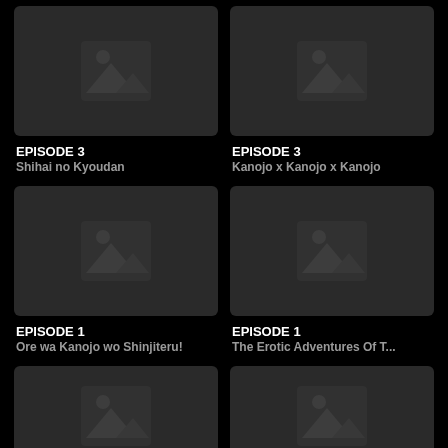[Figure (illustration): Dark thumbnail placeholder with mountain/image icon]
EPISODE 3
Shihai no Kyoudan
[Figure (illustration): Dark thumbnail placeholder with mountain/image icon]
EPISODE 3
Kanojo x Kanojo x Kanojo
[Figure (illustration): Dark thumbnail placeholder with mountain/image icon]
EPISODE 1
Ore wa Kanojo wo Shinjiteru!
[Figure (illustration): Dark thumbnail placeholder with mountain/image icon]
EPISODE 1
The Erotic Adventures Of T...
[Figure (illustration): Dark thumbnail placeholder with mountain/image icon]
[Figure (illustration): Dark thumbnail placeholder with mountain/image icon]